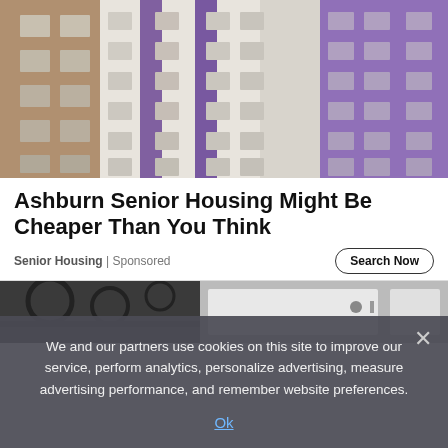[Figure (photo): Photograph of multi-story apartment buildings — white/beige facade on left and purple/violet facade on right, against a pale blue sky. Building has many rectangular windows in a grid pattern.]
Ashburn Senior Housing Might Be Cheaper Than You Think
Senior Housing | Sponsored
[Figure (photo): Partial bottom strip of another photo showing what appears to be industrial or outdoor scene with dark metal structures, white appliances or equipment.]
We and our partners use cookies on this site to improve our service, perform analytics, personalize advertising, measure advertising performance, and remember website preferences.
Ok